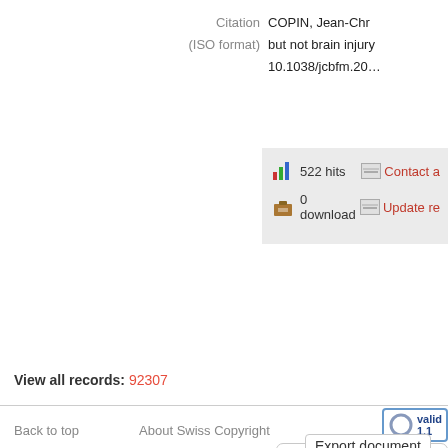Citation
(ISO format)
COPIN, Jean-Chr...
but not brain injury...
10.1038/jcbfm.20...
522 hits
Contact a...
0 download
Update re...
Export document
Format : HTML citation
Citation style : APA 6th - America...
Send
View all records: 92307
Back to top    About Swiss Copyright    valid 1.1